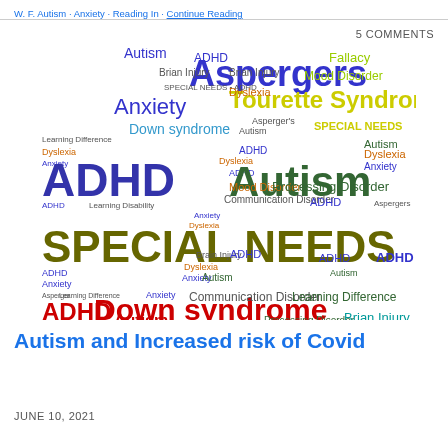W. F. Autism · Anxiety · Reading In · Continue Reading
5 COMMENTS
[Figure (infographic): Word cloud featuring special needs related terms including: Autism, Aspergers, ADHD, Anxiety, Down syndrome, Tourette Syndrome, SPECIAL NEEDS, Brain Injury, Dyslexia, Mood Disorder, Processing Disorder, Communication Disorder, Learning Difference, Learning Disability in various colors (blue, green, red, olive/dark yellow, teal, yellow-green) and font sizes.]
Autism and Increased risk of Covid
JUNE 10, 2021